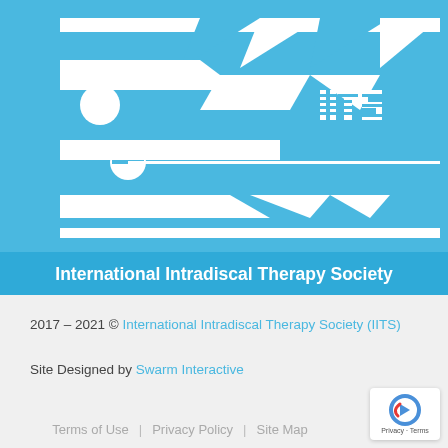[Figure (logo): International Intradiscal Therapy Society (IITS) logo — white geometric abstract figure (person lying on treatment table) with IITS lettering on a sky-blue background]
International Intradiscal Therapy Society
2017 – 2021 © International Intradiscal Therapy Society (IITS)
Site Designed by Swarm Interactive
Terms of Use | Privacy Policy | Site Map